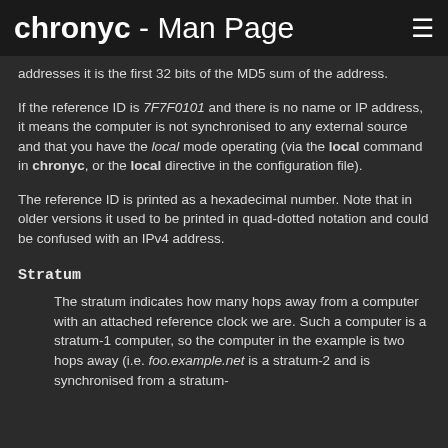chronyc - Man Page
addresses it is the first 32 bits of the MD5 sum of the address.
If the reference ID is 7F7F0101 and there is no name or IP address, it means the computer is not synchronised to any external source and that you have the local mode operating (via the local command in chronyc, or the local directive in the configuration file).
The reference ID is printed as a hexadecimal number. Note that in older versions it used to be printed in quad-dotted notation and could be confused with an IPv4 address.
Stratum
The stratum indicates how many hops away from a computer with an attached reference clock we are. Such a computer is a stratum-1 computer, so the computer in the example is two hops away (i.e. foo.example.net is a stratum-2 and is synchronised from a stratum-